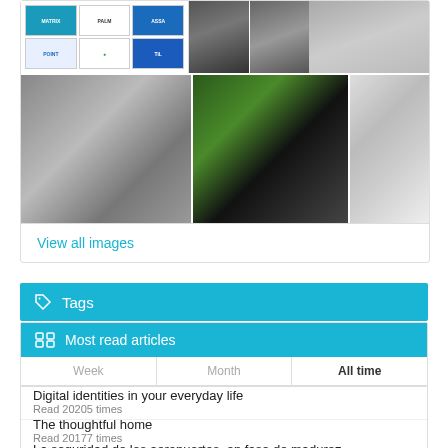[Figure (photo): Gallery of security/access control images: logos grid top-left, photos of people using card readers and biometric devices, a portrait of a man in black and white]
View all images
Tags
Most read articles
| Week | Month | All time |
| --- | --- | --- |
Digital identities in your everyday life
Read 20205 times
The thoughtful home
Read 20177 times
La seguridad de los aeropuertos, en fase de madurez